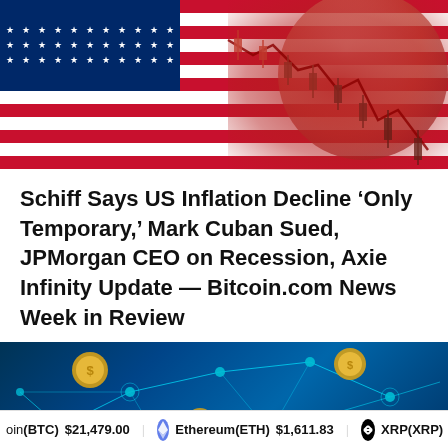[Figure (photo): US flag background with overlaid financial candlestick chart and coin/face watermark in red tones]
Schiff Says US Inflation Decline ‘Only Temporary,’ Mark Cuban Sued, JPMorgan CEO on Recession, Axie Infinity Update — Bitcoin.com News Week in Review
[Figure (illustration): Blockchain network illustration with glowing cyan network nodes and connections on dark blue background, with coin tokens]
oin(BTC) $21,479.00   Ethereum(ETH) $1,611.83   XRP(XRP)